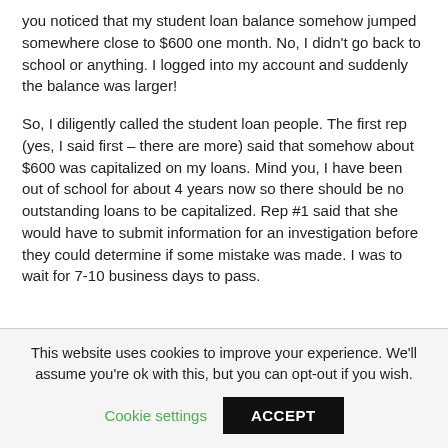you noticed that my student loan balance somehow jumped somewhere close to $600 one month. No, I didn't go back to school or anything. I logged into my account and suddenly the balance was larger!
So, I diligently called the student loan people. The first rep (yes, I said first – there are more) said that somehow about $600 was capitalized on my loans. Mind you, I have been out of school for about 4 years now so there should be no outstanding loans to be capitalized. Rep #1 said that she would have to submit information for an investigation before they could determine if some mistake was made. I was to wait for 7-10 business days to pass.
This website uses cookies to improve your experience. We'll assume you're ok with this, but you can opt-out if you wish.
Cookie settings   ACCEPT